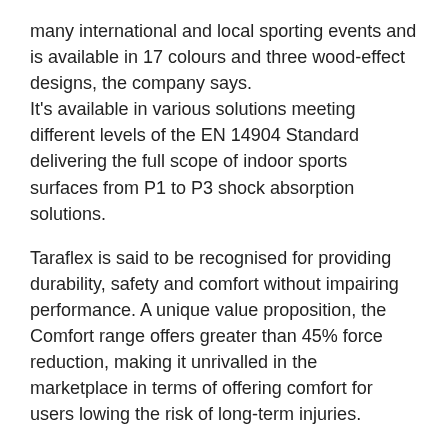many international and local sporting events and is available in 17 colours and three wood-effect designs, the company says.
It's available in various solutions meeting different levels of the EN 14904 Standard delivering the full scope of indoor sports surfaces from P1 to P3 shock absorption solutions.
Taraflex is said to be recognised for providing durability, safety and comfort without impairing performance. A unique value proposition, the Comfort range offers greater than 45% force reduction, making it unrivalled in the marketplace in terms of offering comfort for users lowing the risk of long-term injuries.
Taraflex meets the EN Standard of 22196 for antibacterial activity (E coli – S aureus – MRSA) returning >99% levels of growth inhibition. The product is also treated with Protecsol, which renders polish redundant and is triple action meaning no polish is ever required, it's easy to maintain and is anti-friction burn and slide/grip, according to Gerflor.